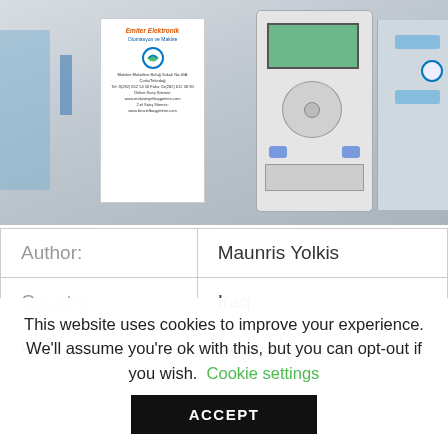[Figure (photo): Photo of an industrial electronic device/controller with a white label card showing 'Emiter Elektronik Otomasyon ve Makine' branding, alongside a handheld device with screen and navigation buttons.]
| Author: | Maunris Yolkis |
| Country: | Iraq |
| Language: | English (Spanish) |
This website uses cookies to improve your experience. We'll assume you're ok with this, but you can opt-out if you wish. Cookie settings ACCEPT